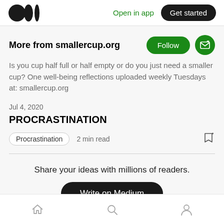Open in app | Get started
More from smallercup.org
Is you cup half full or half empty or do you just need a smaller cup? One well-being reflections uploaded weekly Tuesdays at: smallercup.org
Jul 4, 2020
PROCRASTINATION
Procrastination   2 min read
Share your ideas with millions of readers.
Write on Medium
Home | Search | Profile